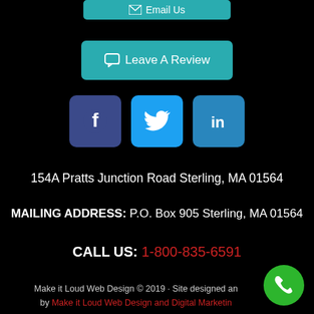[Figure (screenshot): Email Us button (teal, partially cropped at top)]
[Figure (screenshot): Leave A Review button (teal)]
[Figure (screenshot): Social media icons row: Facebook (dark blue), Twitter (blue), LinkedIn (blue)]
154A Pratts Junction Road Sterling, MA 01564
MAILING ADDRESS: P.O. Box 905 Sterling, MA 01564
CALL US: 1-800-835-6591
Make it Loud Web Design © 2019 · Site designed and maintained by Make it Loud Web Design and Digital Marketing